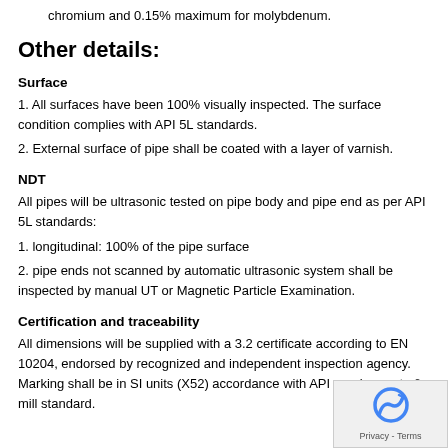chromium and 0.15% maximum for molybdenum.
Other details:
Surface
1. All surfaces have been 100% visually inspected. The surface condition complies with API 5L standards.
2. External surface of pipe shall be coated with a layer of varnish.
NDT
All pipes will be ultrasonic tested on pipe body and pipe end as per API 5L standards:
1. longitudinal: 100% of the pipe surface
2. pipe ends not scanned by automatic ultrasonic system shall be inspected by manual UT or Magnetic Particle Examination.
Certification and traceability
All dimensions will be supplied with a 3.2 certificate according to EN 10204, endorsed by recognized and independent inspection agency. Marking shall be in SI units (X52) accordance with API requirements & mill standard.